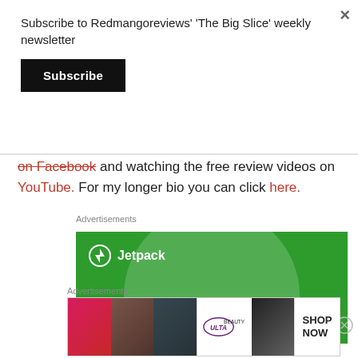Subscribe to Redmangoreviews' 'The Big Slice' weekly newsletter
Subscribe
and watching the free review videos on YouTube. For my longer bio you can click here.
Advertisements
[Figure (screenshot): Jetpack advertisement banner - green background with Jetpack logo and text 'The best real-time WordPress backup']
Advertisements
[Figure (screenshot): Ulta beauty advertisement banner showing makeup product images with 'SHOP NOW' button]